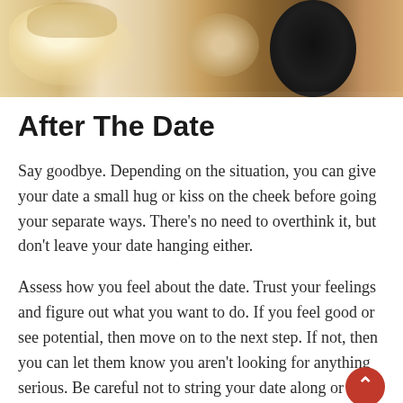[Figure (photo): Photo of a restaurant dinner table with food dishes, including pasta and other plates, with what appears to be a dark-colored bird or object on the right side.]
After The Date
Say goodbye. Depending on the situation, you can give your date a small hug or kiss on the cheek before going your separate ways. There's no need to overthink it, but don't leave your date hanging either.
Assess how you feel about the date. Trust your feelings and figure out what you want to do. If you feel good or see potential, then move on to the next step. If not, then you can let them know you aren't looking for anything serious. Be careful not to string your date along or completely ghost them.
Thank your date for a lovely time and let them know